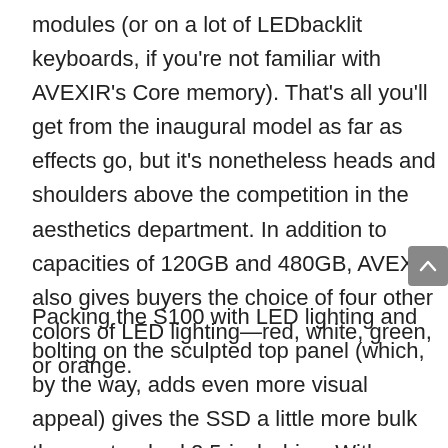modules (or on a lot of LEDbacklit keyboards, if you're not familiar with AVEXIR's Core memory). That's all you'll get from the inaugural model as far as effects go, but it's nonetheless heads and shoulders above the competition in the aesthetics department. In addition to capacities of 120GB and 480GB, AVEXIR also gives buyers the choice of four other colors of LED lighting—red, white, green, or orange.
Packing the S100 with LED lighting and bolting on the sculpted top panel (which, by the way, adds even more visual appeal) gives the SSD a little more bulk than a standard 2.5-inch drive. With a height of